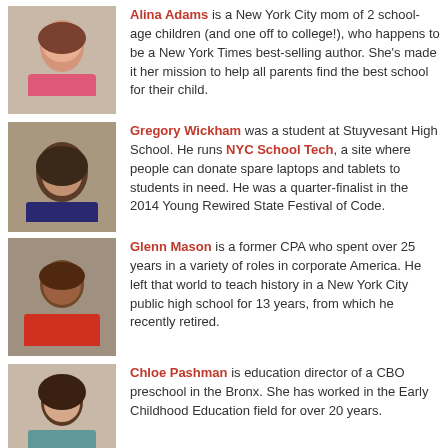[Figure (photo): Headshot of Alina Adams, a white woman with brown wavy hair, wearing a pink turtleneck, smiling]
Alina Adams is a New York City mom of 2 school-age children (and one off to college!), who happens to be a New York Times best-selling author. She's made it her mission to help all parents find the best school for their child.
[Figure (photo): Headshot of Gregory Wickham, a young Black man with a large natural afro, wearing a dark blue shirt]
Gregory Wickham was a student at Stuyvesant High School. He runs NYC School Tech, a site where people can donate spare laptops and tablets to students in need. He was a quarter-finalist in the 2014 Young Rewired State Festival of Code.
[Figure (photo): Headshot of Glenn Mason, a middle-aged Black man wearing a red polo shirt, smiling]
Glenn Mason is a former CPA who spent over 25 years in a variety of roles in corporate America. He left that world to teach history in a New York City public high school for 13 years, from which he recently retired.
[Figure (photo): Headshot of Chloe Pashman, a young woman with long dark hair, smiling]
Chloe Pashman is education director of a CBO preschool in the Bronx. She has worked in the Early Childhood Education field for over 20 years.